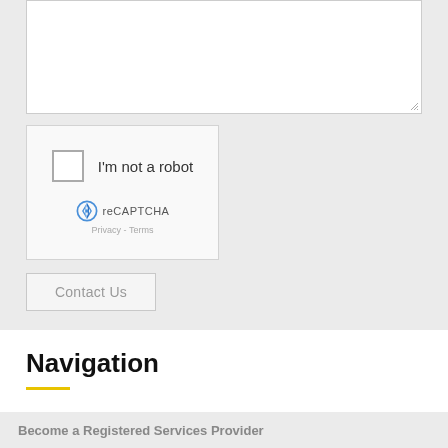[Figure (screenshot): Text area input field (empty, resizable) in a grey form area]
[Figure (screenshot): reCAPTCHA widget with checkbox labeled 'I'm not a robot', reCAPTCHA logo, and 'Privacy - Terms' links]
Contact Us
Navigation
Become a Registered Services Provider